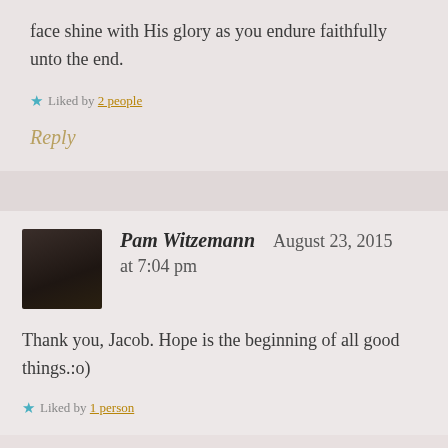face shine with His glory as you endure faithfully unto the end.
Liked by 2 people
Reply
Pam Witzemann  August 23, 2015 at 7:04 pm
Thank you, Jacob. Hope is the beginning of all good things.:o)
Liked by 1 person